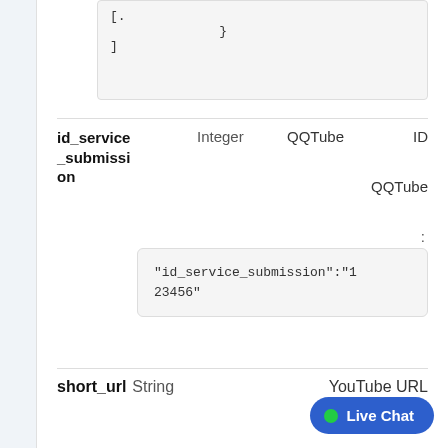[
        }
]
| Field | Type | Service | Label |
| --- | --- | --- | --- |
| id_service_submission | Integer | QQTube | ID |
|  |  | QQTube |  |
:
"id_service_submission":"123456"
| Field | Type | Label |
| --- | --- | --- |
| short_url | String | YouTube URL |